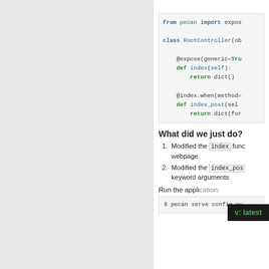[Figure (screenshot): Code block showing Python pecan web framework code: from pecan import expose, class RootController with @expose(generic=True) def index, return dict(), @index.when(method=...) def index_post(self...) return dict(for...]
What did we just do?
Modified the index function to return the webpage
Modified the index_post to accept keyword arguments
Run the application:
[Figure (screenshot): Code block showing: $ pecan serve config.py]